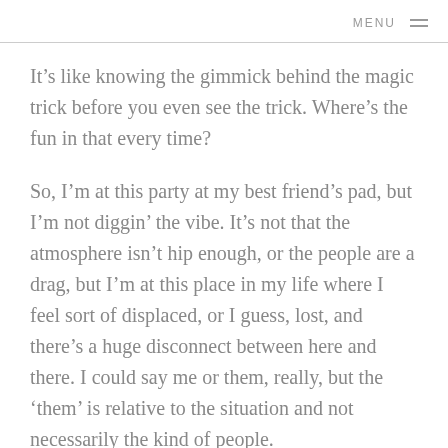MENU
It’s like knowing the gimmick behind the magic trick before you even see the trick. Where’s the fun in that every time?
So, I’m at this party at my best friend’s pad, but I’m not diggin’ the vibe. It’s not that the atmosphere isn’t hip enough, or the people are a drag, but I’m at this place in my life where I feel sort of displaced, or I guess, lost, and there’s a huge disconnect between here and there. I could say me or them, really, but the ‘them’ is relative to the situation and not necessarily the kind of people.
I’m standing behind a yellow beaded curtain smoking a